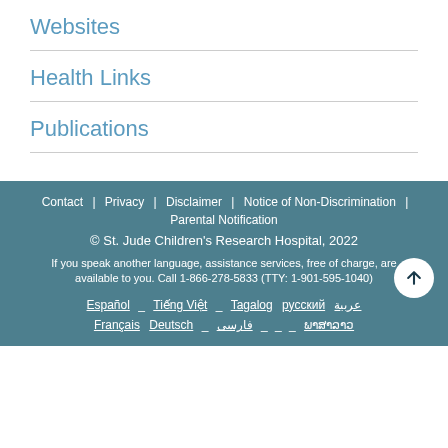Websites
Health Links
Publications
Contact | Privacy | Disclaimer | Notice of Non-Discrimination | Parental Notification
© St. Jude Children's Research Hospital, 2022
If you speak another language, assistance services, free of charge, are available to you. Call 1-866-278-5833 (TTY: 1-901-595-1040)
Español _ Tiếng Việt _ Tagalog русский عربية
Français Deutsch _ فارسی _ _ _ ພາສາລາວ